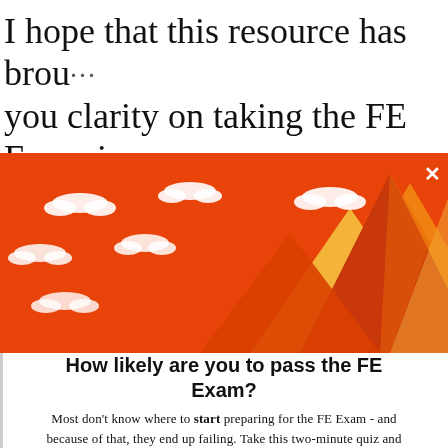I hope that this resource has brou… you clarity on taking the FE Exam in Pennsylvania.
[Figure (illustration): Orange popup banner with mountain illustration (stylized orange and yellow mountains with white clouds on orange background), with an X close button in the top right corner.]
How likely are you to pass the FE Exam?
Most don't know where to start preparing for the FE Exam - and because of that, they end up failing. Take this two-minute quiz and get a path tailored to fit your situation and how to get started fast.
TAKE THE QUIZ